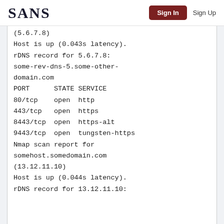SANS | Sign In | Sign Up
(5.6.7.8)
Host is up (0.043s latency).
rDNS record for 5.6.7.8:
some-rev-dns-5.some-other-
domain.com
PORT      STATE SERVICE
80/tcp    open  http
443/tcp   open  https
8443/tcp  open  https-alt
9443/tcp  open  tungsten-https
Nmap scan report for
somehost.somedomain.com
(13.12.11.10)
Host is up (0.044s latency).
rDNS record for 13.12.11.10: